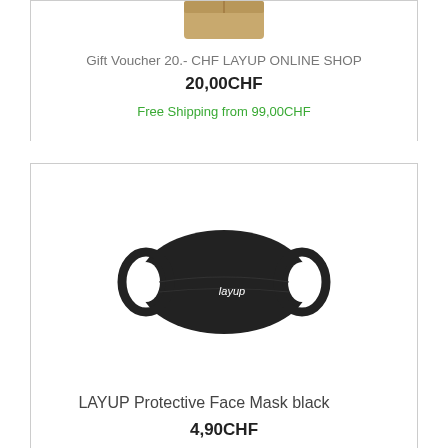[Figure (photo): Gift Voucher box product image (partially cropped at top)]
Gift Voucher 20.- CHF LAYUP ONLINE SHOP
20,00CHF
Free Shipping from 99,00CHF
[Figure (photo): LAYUP black protective face mask with layup logo on white background]
LAYUP Protective Face Mask black
4,90CHF